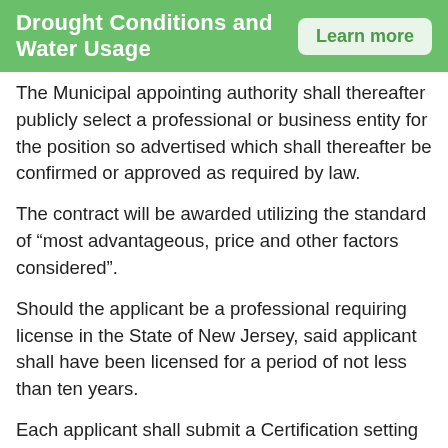Drought Conditions and Water Usage  Learn more
The Municipal appointing authority shall thereafter publicly select a professional or business entity for the position so advertised which shall thereafter be confirmed or approved as required by law.
The contract will be awarded utilizing the standard of “most advantageous, price and other factors considered”.
Should the applicant be a professional requiring license in the State of New Jersey, said applicant shall have been licensed for a period of not less than ten years.
Each applicant shall submit a Certification setting forth the fact that he or she is in good standing with the licensing authority, and that the professional’s license is neither presently suspended nor revoked.